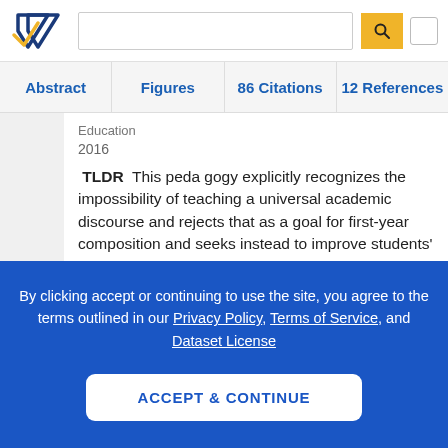Semantic Scholar — search bar with logo, search input, and search button
Abstract | Figures | 86 Citations | 12 References
Education
2016
TLDR This peda gogy explicitly recognizes the impossibility of teaching a universal academic discourse and rejects that as a goal for first-year composition and seeks instead to improve students' understanding of writing, rhetoric, language, and literacy in a course that is topi
By clicking accept or continuing to use the site, you agree to the terms outlined in our Privacy Policy, Terms of Service, and Dataset License
ACCEPT & CONTINUE